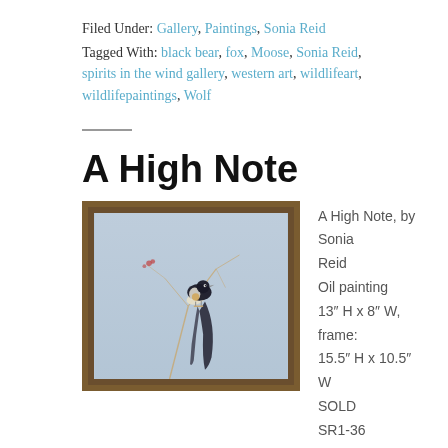Filed Under: Gallery, Paintings, Sonia Reid
Tagged With: black bear, fox, Moose, Sonia Reid, spirits in the wind gallery, western art, wildlifeart, wildlifepaintings, Wolf
A High Note
[Figure (photo): Framed oil painting of a bird (magpie-like) perched on thin branches against a light blue-grey background, in a dark brown frame]
A High Note, by Sonia Reid
Oil painting
13″ H x 8″ W, frame: 15.5″ H x 10.5″ W
SOLD
SR1-36